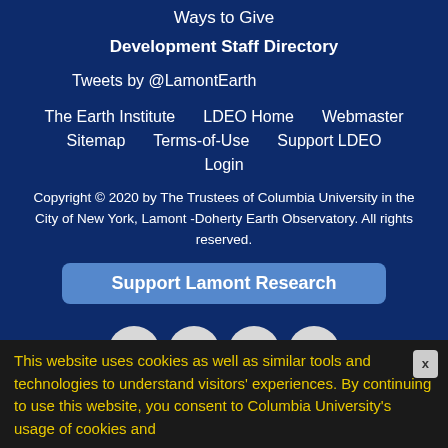Ways to Give
Development Staff Directory
Tweets by @LamontEarth
The Earth Institute
LDEO Home
Webmaster
Sitemap
Terms-of-Use
Support LDEO
Login
Copyright © 2020 by The Trustees of Columbia University in the City of New York, Lamont -Doherty Earth Observatory. All rights reserved.
Support Lamont Research
[Figure (illustration): Social media icons: Facebook, LinkedIn, Twitter, Email]
This website uses cookies as well as similar tools and technologies to understand visitors' experiences. By continuing to use this website, you consent to Columbia University's usage of cookies and